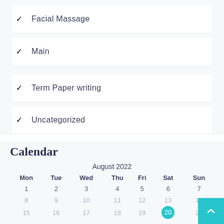✓ Facial Massage
✓ Main
✓ Term Paper writing
✓ Uncategorized
Calendar
| Mon | Tue | Wed | Thu | Fri | Sat | Sun |
| --- | --- | --- | --- | --- | --- | --- |
| 1 | 2 | 3 | 4 | 5 | 6 | 7 |
| 8 | 9 | 10 | 11 | 12 | 13 | 14 |
| 15 | 16 | 17 | 18 | 19 | 20 | 21 |